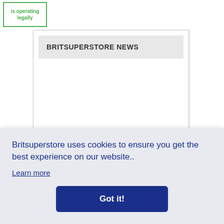[Figure (screenshot): Green bordered box with text 'is operating legally' in green font, top-left corner of page]
[Figure (screenshot): Website screenshot showing BRITSUPERSTORE NEWS header bar and partial welcome text reading 'Welcome! You have reached www.britsuperstore.com, the home of']
Britsuperstore uses cookies to ensure you get the best experience on our website..
Learn more
Got it!